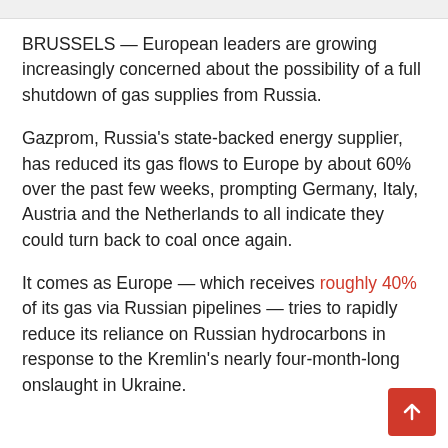BRUSSELS — European leaders are growing increasingly concerned about the possibility of a full shutdown of gas supplies from Russia.
Gazprom, Russia's state-backed energy supplier, has reduced its gas flows to Europe by about 60% over the past few weeks, prompting Germany, Italy, Austria and the Netherlands to all indicate they could turn back to coal once again.
It comes as Europe — which receives roughly 40% of its gas via Russian pipelines — tries to rapidly reduce its reliance on Russian hydrocarbons in response to the Kremlin's nearly four-month-long onslaught in Ukraine.